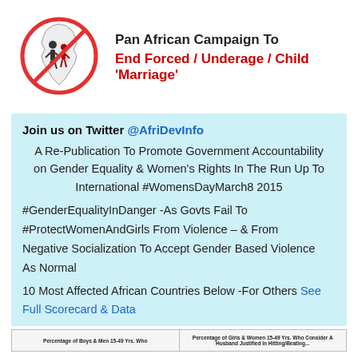[Figure (logo): Pan African Campaign logo: circular no-symbol over Africa map silhouette with two figures]
Pan African Campaign To End Forced / Underage / Child 'Marriage'
Join us on Twitter @AfriDevInfo
A Re-Publication To Promote Government Accountability on Gender Equality & Women's Rights In The Run Up To International #WomensDayMarch8 2015
#GenderEqualityInDanger -As Govts Fail To #ProtectWomenAndGirls From Violence – & From Negative Socialization To Accept Gender Based Violence As Normal
10 Most Affected African Countries Below -For Others See Full Scorecard & Data
[Figure (table-as-image): Bottom strip showing two partial table headers: 'Percentage of Boys & Men 15-49 Yrs. Who...' and 'Percentage of Girls & Women 15-49 Yrs. Who Consider A Husband Justified in Hitting/Beating...']